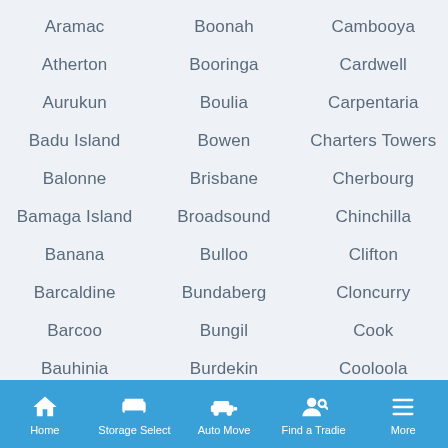Aramac
Boonah
Cambooya
Atherton
Booringa
Cardwell
Aurukun
Boulia
Carpentaria
Badu Island
Bowen
Charters Towers
Balonne
Brisbane
Cherbourg
Bamaga Island
Broadsound
Chinchilla
Banana
Bulloo
Clifton
Barcaldine
Bundaberg
Cloncurry
Barcoo
Bungil
Cook
Bauhinia
Burdekin
Cooloola
Beaudesert
Burke
Crows Nest
Home | Storage Select | Auto Move | Find a Tradie | More